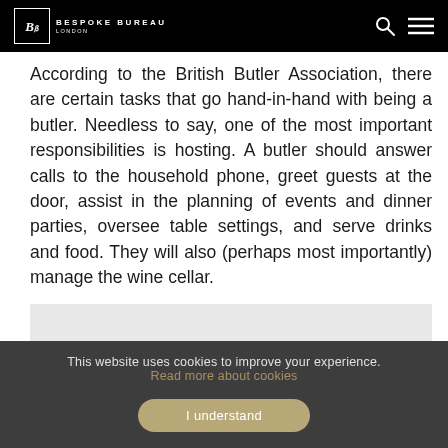Bespoke Bureau London
According to the British Butler Association, there are certain tasks that go hand-in-hand with being a butler. Needless to say, one of the most important responsibilities is hosting. A butler should answer calls to the household phone, greet guests at the door, assist in the planning of events and dinner parties, oversee table settings, and serve drinks and food. They will also (perhaps most importantly) manage the wine cellar.
[Figure (photo): Gray placeholder image area below the main text]
This website uses cookies to improve your experience. Read more about cookies
I understand